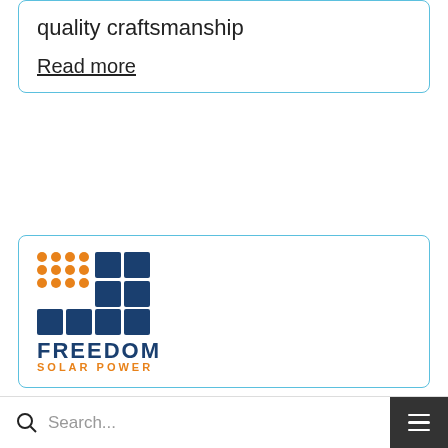quality craftsmanship
Read more
[Figure (logo): Freedom Solar Power logo with orange dot grid and blue square grid, text FREEDOM SOLAR POWER]
Freedom Solar - Dallas
486
4
Solar Electric (pv) For:
Commercial Properties
Search...